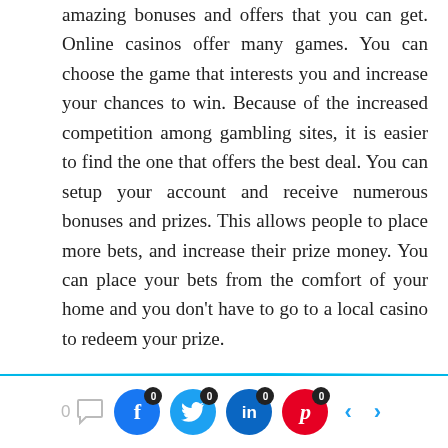amazing bonuses and offers that you can get. Online casinos offer many games. You can choose the game that interests you and increase your chances to win. Because of the increased competition among gambling sites, it is easier to find the one that offers the best deal. You can setup your account and receive numerous bonuses and prizes. This allows people to place more bets, and increase their prize money. You can place your bets from the comfort of your home and you don't have to go to a local casino to redeem your prize.
Some people feel that local betting shops offer only a few games and allow them bet on the smallest of the slots. Online betting sites offer international gambling options and information about betting trends. You get the best promotional offers and gain more rewards after setting up your gambling account on an online
0 [comment] [Facebook 0] [Twitter 0] [LinkedIn 0] [Pinterest 0] < >